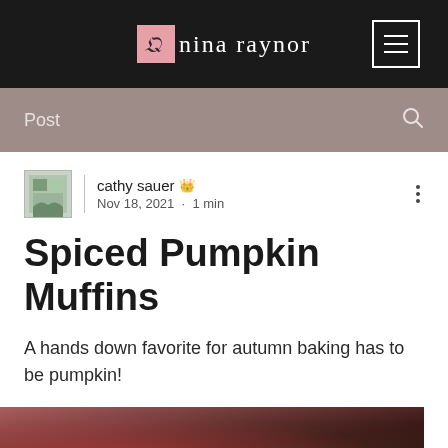nina raynor
Post
cathy sauer  Nov 18, 2021 · 1 min
Spiced Pumpkin Muffins
A hands down favorite for autumn baking has to be pumpkin!
[Figure (photo): Blurred close-up photo of pumpkin muffins with red baking cups, bottom portion of page]